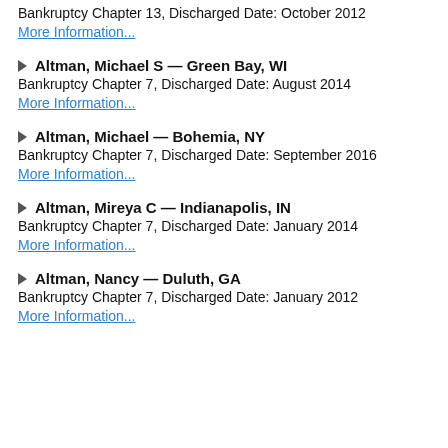Bankruptcy Chapter 13, Discharged Date: October 2012
More Information...
▷ Altman, Michael S — Green Bay, WI
Bankruptcy Chapter 7, Discharged Date: August 2014
More Information...
▷ Altman, Michael — Bohemia, NY
Bankruptcy Chapter 7, Discharged Date: September 2016
More Information...
▷ Altman, Mireya C — Indianapolis, IN
Bankruptcy Chapter 7, Discharged Date: January 2014
More Information...
▷ Altman, Nancy — Duluth, GA
Bankruptcy Chapter 7, Discharged Date: January 2012
More Information...